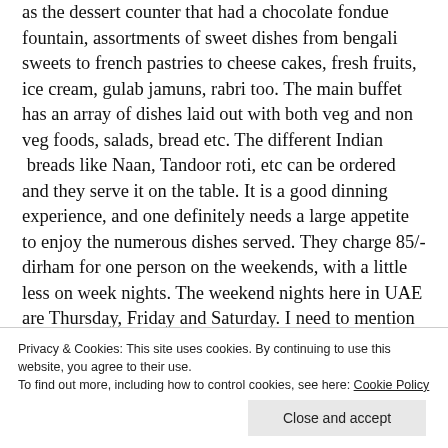as the dessert counter that had a chocolate fondue fountain, assortments of sweet dishes from bengali sweets to french pastries to cheese cakes, fresh fruits, ice cream, gulab jamuns, rabri too. The main buffet has an array of dishes laid out with both veg and non veg foods, salads, bread etc. The different Indian  breads like Naan, Tandoor roti, etc can be ordered and they serve it on the table. It is a good dinning experience, and one definitely needs a large appetite to enjoy the numerous dishes served. They charge 85/- dirham for one person on the weekends, with a little less on week nights. The weekend nights here in UAE are Thursday, Friday and Saturday. I need to mention here the desserts and the crispy corn that was served on the Veg menu, it was great. They had fried ice cream too on the
Privacy & Cookies: This site uses cookies. By continuing to use this website, you agree to their use.
To find out more, including how to control cookies, see here: Cookie Policy